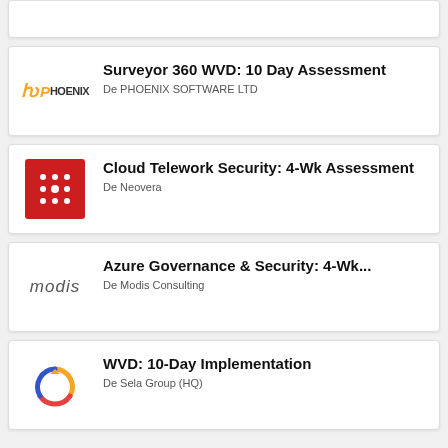[Figure (other): Partial card at top, content not visible]
Surveyor 360 WVD: 10 Day Assessment
De PHOENIX SOFTWARE LTD
Cloud Telework Security: 4-Wk Assessment
De Neovera
Azure Governance & Security: 4-Wk...
De Modis Consulting
WVD: 10-Day Implementation
De Sela Group (HQ)